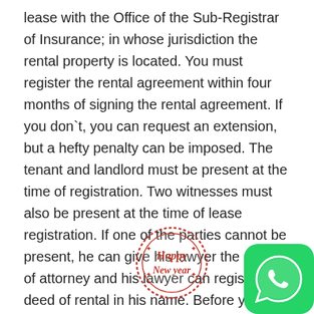lease with the Office of the Sub-Registrar of Insurance; in whose jurisdiction the rental property is located. You must register the rental agreement within four months of signing the rental agreement. If you don`t, you can request an extension, but a hefty penalty can be imposed. The tenant and landlord must be present at the time of registration. Two witnesses must also be present at the time of lease registration. If one of the parties cannot be present, he can give his lawyer the power of attorney and his lawyer can register the deed of rental in his name. Before you start registering the rental agreement, you must have a valid rental agreement. Your rental lease should preferably include the following clauses: In some states, lease registration can also be done online.
For example, in Maharashtra, an online registration can be